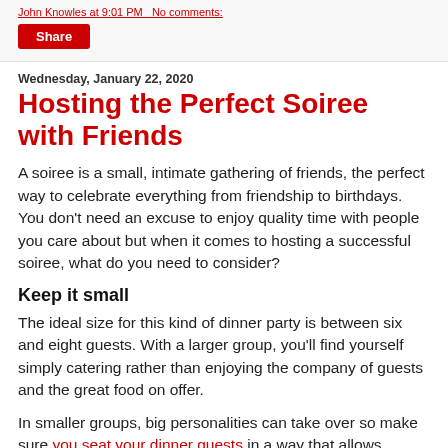John Knowles at 9:01 PM   No comments:
Share
Wednesday, January 22, 2020
Hosting the Perfect Soiree with Friends
A soiree is a small, intimate gathering of friends, the perfect way to celebrate everything from friendship to birthdays. You don't need an excuse to enjoy quality time with people you care about but when it comes to hosting a successful soiree, what do you need to consider?
Keep it small
The ideal size for this kind of dinner party is between six and eight guests. With a larger group, you'll find yourself simply catering rather than enjoying the company of guests and the great food on offer.
In smaller groups, big personalities can take over so make sure you seat your dinner guests in a way that allows